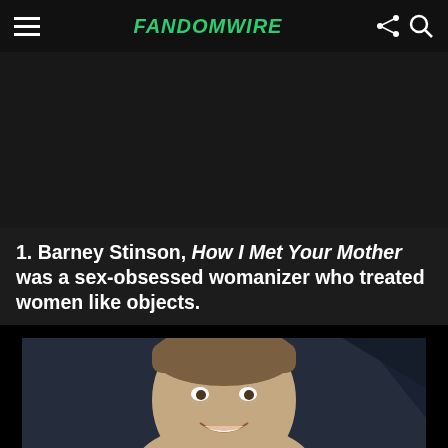FandomWire
[Figure (photo): Dark background area with no visible content]
1. Barney Stinson, How I Met Your Mother was a sex-obsessed womanizer who treated women like objects.
[Figure (photo): Photo of a smiling man (Neil Patrick Harris as Barney Stinson) against a dark blue background]